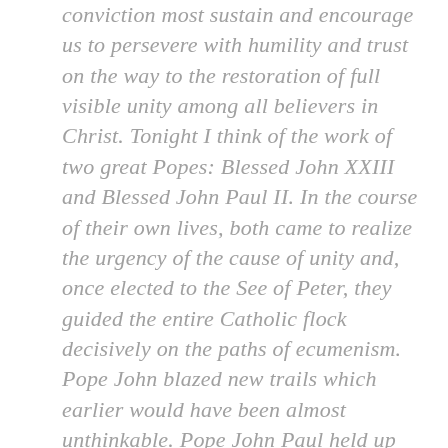conviction most sustain and encourage us to persevere with humility and trust on the way to the restoration of full visible unity among all believers in Christ. Tonight I think of the work of two great Popes: Blessed John XXIII and Blessed John Paul II. In the course of their own lives, both came to realize the urgency of the cause of unity and, once elected to the See of Peter, they guided the entire Catholic flock decisively on the paths of ecumenism. Pope John blazed new trails which earlier would have been almost unthinkable. Pope John Paul held up ecumenical dialogue as an ordinary and indispensable aspect of the life of each Particular Church. With them, I think too of